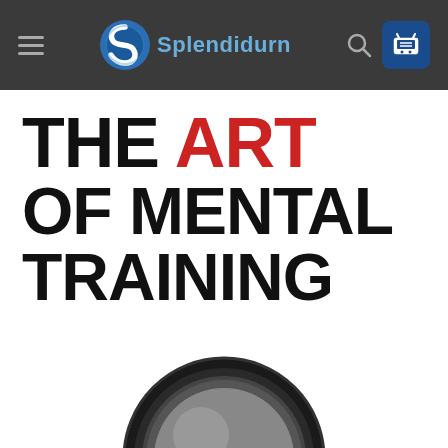[Figure (screenshot): Website header with hamburger menu, Splendidium logo (S icon + text), search icon, and blue cart button on dark gray background]
THE ART OF MENTAL TRAINING
[Figure (photo): Bottom of book cover showing a magnifying glass lens]